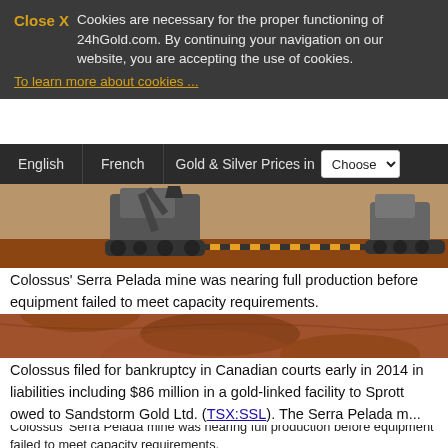Close X  Cookies are necessary for the proper functioning of 24hGold.com. By continuing your navigation on our website, you are accepting the use of cookies. To learn more about cookies ...
English  French  Gold & Silver Prices in  Choose
[Figure (photo): Open pit mine site with tracked construction equipment on red-brown earth, dusty terrain, orange-red rocky ground in foreground]
Colossus' Serra Pelada mine was nearing full production before equipment failed to meet capacity requirements.
Colossus filed for bankruptcy in Canadian courts early in 2014 in liabilities including $86 million in a gold-linked facility to Sprott owed to Sandstorm Gold Ltd. (TSX:SSL). The Serra Pelada mine...